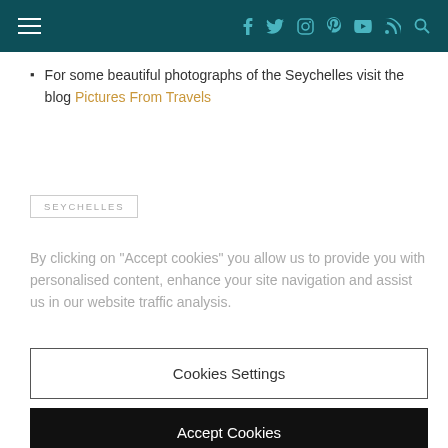Navigation bar with hamburger menu and social icons (facebook, twitter, instagram, pinterest, youtube, rss, search)
For some beautiful photographs of the Seychelles visit the blog Pictures From Travels
SEYCHELLES
By clicking on "Accept cookies" you allow us to provide you with personalised content, enhance your site navigation and assist us in our website traffic analysis.
Cookies Settings
Accept Cookies